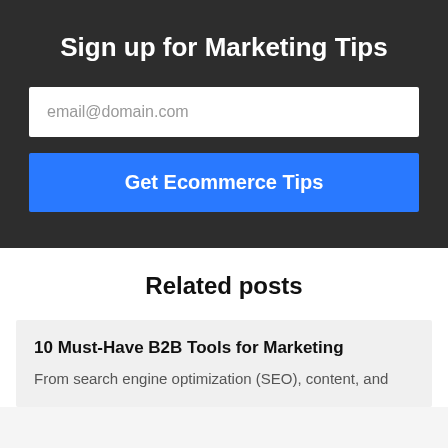Sign up for Marketing Tips
email@domain.com
Get Ecommerce Tips
Related posts
10 Must-Have B2B Tools for Marketing
From search engine optimization (SEO), content, and